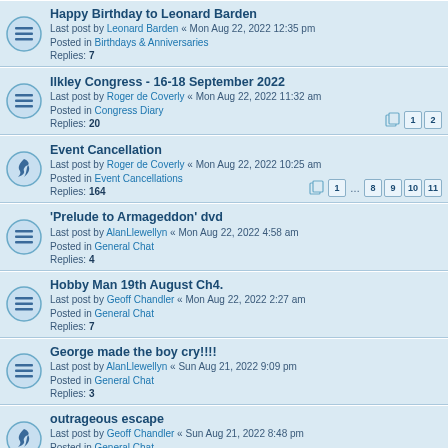Happy Birthday to Leonard Barden
Last post by Leonard Barden « Mon Aug 22, 2022 12:35 pm
Posted in Birthdays & Anniversaries
Replies: 7
Ilkley Congress - 16-18 September 2022
Last post by Roger de Coverly « Mon Aug 22, 2022 11:32 am
Posted in Congress Diary
Replies: 20
Event Cancellation
Last post by Roger de Coverly « Mon Aug 22, 2022 10:25 am
Posted in Event Cancellations
Replies: 164
'Prelude to Armageddon' dvd
Last post by AlanLlewellyn « Mon Aug 22, 2022 4:58 am
Posted in General Chat
Replies: 4
Hobby Man 19th August Ch4.
Last post by Geoff Chandler « Mon Aug 22, 2022 2:27 am
Posted in General Chat
Replies: 7
George made the boy cry!!!!
Last post by AlanLlewellyn « Sun Aug 21, 2022 9:09 pm
Posted in General Chat
Replies: 3
outrageous escape
Last post by Geoff Chandler « Sun Aug 21, 2022 8:48 pm
Posted in General Chat
Replies: 62